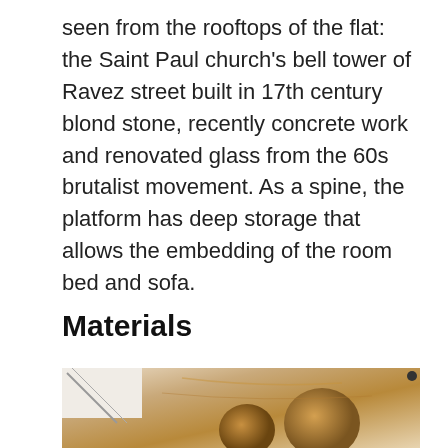seen from the rooftops of the flat: the Saint Paul church's bell tower of Ravez street built in 17th century blond stone, recently concrete work and renovated glass from the 60s brutalist movement. As a spine, the platform has deep storage that allows the embedding of the room bed and sofa.
Materials
[Figure (photo): Close-up photograph of wooden curved architectural or furniture elements, showing natural wood grain with warm brown tones against a white background.]